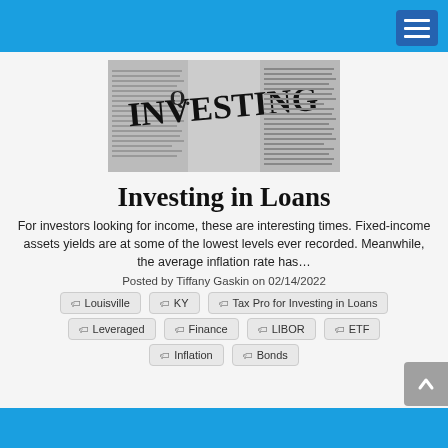[Figure (photo): Newspaper pages showing financial/investing data with large headline text 'INVESTING']
Investing in Loans
For investors looking for income, these are interesting times. Fixed-income assets yields are at some of the lowest levels ever recorded. Meanwhile, the average inflation rate has…
Posted by Tiffany Gaskin on 02/14/2022
Louisville
KY
Tax Pro for Investing in Loans
Leveraged
Finance
LIBOR
ETF
Inflation
Bonds